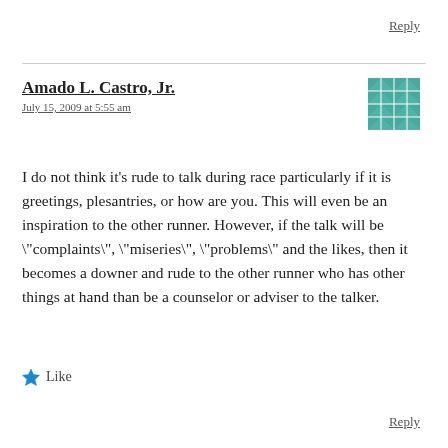Reply
Amado L. Castro, Jr.
July 15, 2009 at 5:55 am
[Figure (illustration): Teal/green decorative tile avatar pattern]
I do not think it's rude to talk during race particularly if it is greetings, plesantries, or how are you. This will even be an inspiration to the other runner. However, if the talk will be "complaints", "miseries", "problems" and the likes, then it becomes a downer and rude to the other runner who has other things at hand than be a counselor or adviser to the talker.
Like
Reply